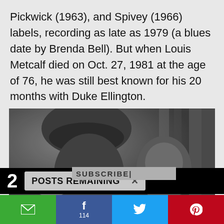Pickwick (1963), and Spivey (1966) labels, recording as late as 1979 (a blues date by Brenda Bell). But when Louis Metcalf died on Oct. 27, 1981 at the age of 76, he was still best known for his 20 months with Duke Ellington.
[Figure (photo): Black and white photograph of a jazz musician playing trumpet, with another figure behind them, against a curtained background.]
2  POSTS REMAINING  x
SUBSCRIBE